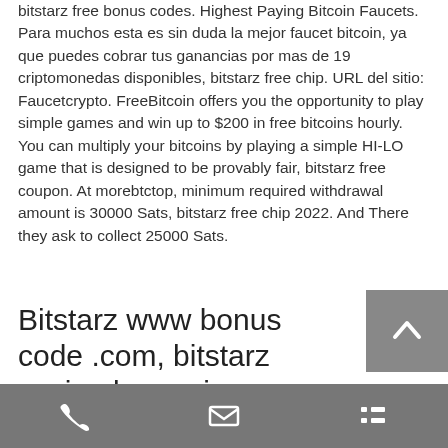bitstarz free bonus codes. Highest Paying Bitcoin Faucets. Para muchos esta es sin duda la mejor faucet bitcoin, ya que puedes cobrar tus ganancias por mas de 19 criptomonedas disponibles, bitstarz free chip. URL del sitio: Faucetcrypto. FreeBitcoin offers you the opportunity to play simple games and win up to $200 in free bitcoins hourly. You can multiply your bitcoins by playing a simple HI-LO game that is designed to be provably fair, bitstarz free coupon. At morebtctop, minimum required withdrawal amount is 30000 Sats, bitstarz free chip 2022. And There they ask to collect 25000 Sats.
Bitstarz www bonus code .com, bitstarz casino bono sin depósito